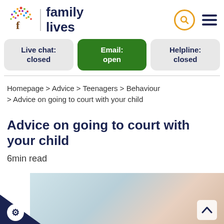[Figure (logo): Family Lives logo — colourful tree with letter f, and 'family lives' text in dark navy]
Live chat: closed | Email: open | Helpline: closed
Homepage > Advice > Teenagers > Behaviour > Advice on going to court with your child
Advice on going to court with your child
6min read
[Figure (photo): Photo of two women having a conversation in an office or consultation room setting, with bookshelves in the background]